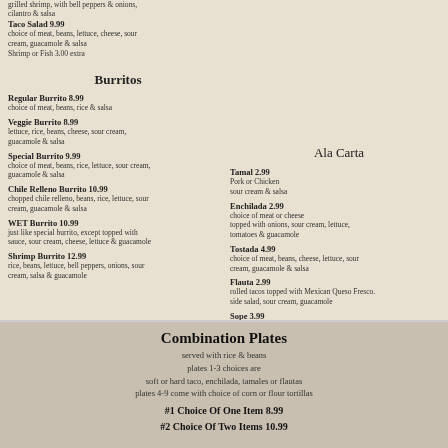grilled shrimp, with bell peppers & onions, cilantro & salsa
Taco Salad 9.99 — choice of meat, beans, lettuce, cheese, sour cream, guacamole & salsa. Shrimp or Fish 3.00 extra
[Figure (other): Green box: Aguachiles 18.99 served with chips — shrimp in serrano, lime sauce with onions, cucumber & avocado]
[Figure (other): Red box: Ceviche Tostada Fish 4.99 Shrimp 5.99 — lime, ceviche, avocado]
[Figure (other): Hamburger menu icon (three horizontal bars)]
Burritos
Regular Burrito 8.99 — choice of meat, beans, rice & salsa
Veggie Burrito 8.99 — lettuce, rice, beans, cheese, sour cream, guacamole & salsa
Special Burrito 9.99 — choice of meat, beans, rice, lettuce, sour cream, guacamole & salsa
Chile Relleno Burrito 10.99 — chopped chile relleno, beans, rice, lettuce, sour cream, guacamole & salsa
WET Burrito 10.99 — just like special burrito, except topped with sauce, sour cream, cheese, lettuce & guacamole
Shrimp Burrito 12.99 — rice, beans, lettuce, bell peppers, onions, sour cream, salsa & guacamole
Ala Carta
Tamal 2.99 — Pork or Chicken, sour cream & salsa
Enchilada 2.99 — choice of meat or cheese, topped with onions, sour cream, lettuce, tomatoes & guacamole
Tostada 4.99 — choice of meat, beans, cheese, lettuce, sour cream, guacamole & salsa
Flauta 2.99 — rolled tacos topped with Mexican Queso Fresco. side salad, sour cream, guacamole
Sope 3.99 — a thick corn tortilla with choice of meat, cheese, sour cream, guacamole, lettuce & salsa
Homemade Chile Relleno 8.99 — poblano pepper filled with jack cheese smothered in tomato sauce
Combination Plates
served with rice & beans
plates 1-3 choices are
soft or hard taco, enchilada, tamales or flautas
plates 4-9 come with choice of corn or flour tortillas
#1 Choice Of One Item 8.99
#2 Choice Of Two Items 10.99